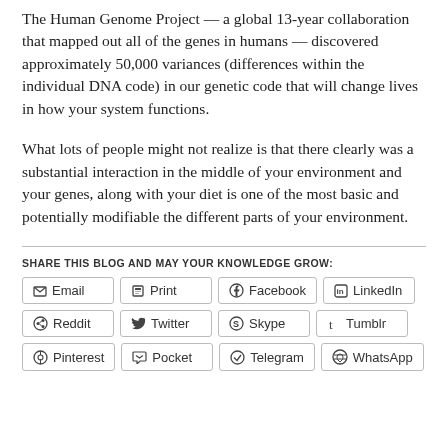The Human Genome Project — a global 13-year collaboration that mapped out all of the genes in humans — discovered approximately 50,000 variances (differences within the individual DNA code) in our genetic code that will change lives in how your system functions.
What lots of people might not realize is that there clearly was a substantial interaction in the middle of your environment and your genes, along with your diet is one of the most basic and potentially modifiable the different parts of your environment.
SHARE THIS BLOG AND MAY YOUR KNOWLEDGE GROW:
Email
Print
Facebook
LinkedIn
Reddit
Twitter
Skype
Tumblr
Pinterest
Pocket
Telegram
WhatsApp